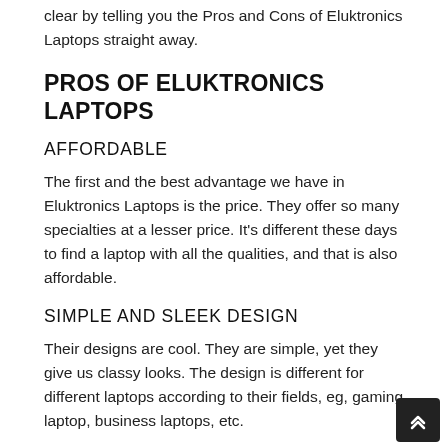clear by telling you the Pros and Cons of Eluktronics Laptops straight away.
PROS OF ELUKTRONICS LAPTOPS
AFFORDABLE
The first and the best advantage we have in Eluktronics Laptops is the price. They offer so many specialties at a lesser price. It's different these days to find a laptop with all the qualities, and that is also affordable.
SIMPLE AND SLEEK DESIGN
Their designs are cool. They are simple, yet they give us classy looks. The design is different for different laptops according to their fields, eg, gaming laptop, business laptops, etc.